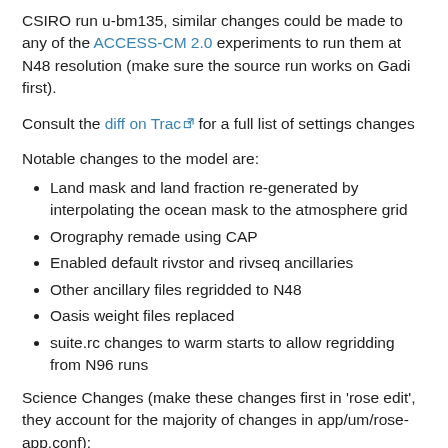CSIRO run u-bm135, similar changes could be made to any of the ACCESS-CM 2.0 experiments to run them at N48 resolution (make sure the source run works on Gadi first).
Consult the diff on Trac [external link] for a full list of settings changes
Notable changes to the model are:
Land mask and land fraction re-generated by interpolating the ocean mask to the atmosphere grid
Orography remade using CAP
Enabled default rivstor and rivseq ancillaries
Other ancillary files regridded to N48
Oasis weight files replaced
suite.rc changes to warm starts to allow regridding from N96 runs
Science Changes (make these changes first in 'rose edit', they account for the majority of changes in app/um/rose-app.conf):
l_easyaerosol_{lw,sw,zonal} disabled